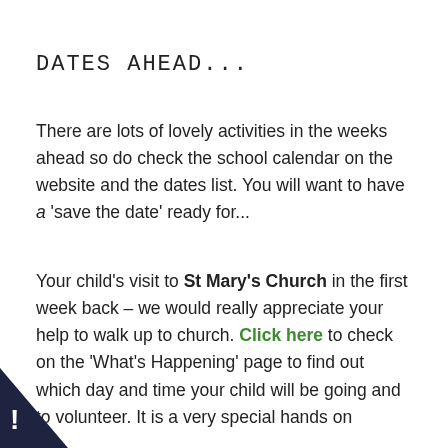DATES AHEAD...
There are lots of lovely activities in the weeks ahead so do check the school calendar on the website and the dates list. You will want to have a ‘save the date’ ready for...
Your child’s visit to St Mary’s Church in the first week back – we would really appreciate your help to walk up to church. Click here to check on the ‘What’s Happening’ page to find out which day and time your child will be going and to volunteer. It is a very special hands on